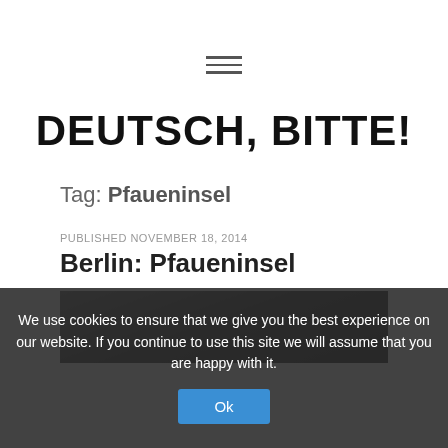≡ (hamburger menu icon)
DEUTSCH, BITTE!
Tag: Pfaueninsel
PUBLISHED NOVEMBER 18, 2014
Berlin: Pfaueninsel
[Figure (photo): Partially visible photo below the post title, appears to be an outdoor/park scene]
We use cookies to ensure that we give you the best experience on our website. If you continue to use this site we will assume that you are happy with it.